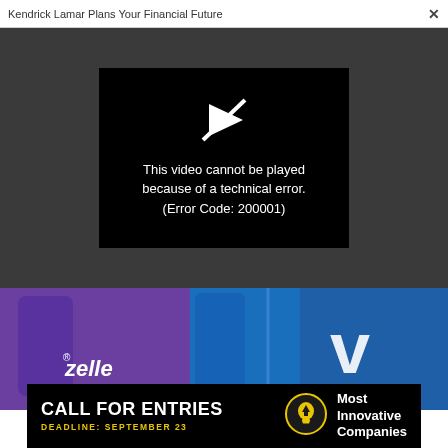Kendrick Lamar Plans Your Financial Future
[Figure (screenshot): Video player showing error message: This video cannot be played because of a technical error. (Error Code: 200001)]
[Figure (photo): Close-up photo of Zelle and Venmo mobile app icons on smartphones with purple and blue colors]
[Figure (infographic): Black banner advertisement: CALL FOR ENTRIES, DEADLINE: SEPTEMBER 23, Most Innovative Companies with lightbulb icon]